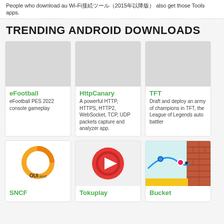People who download au Wi-Fi接続ツール（2015年以降版） also get those Tools apps.
TRENDING ANDROID DOWNLOADS
[Figure (screenshot): App card for eFootball with grey placeholder icon]
eFootball
eFootball PES 2022 console gameplay
[Figure (screenshot): App card for HttpCanary with grey placeholder icon]
HttpCanary
A powerful HTTP, HTTPS, HTTP2, WebSocket, TCP, UDP packets capture and analyzer app.
[Figure (screenshot): App card for TFT with grey placeholder icon]
TFT
Draft and deploy an army of champions in TFT, the League of Legends auto battler
[Figure (logo): SNCF OUI app logo - orange circular arc with OUI.sncf text]
SNCF
[Figure (logo): Tokuplay app logo - red circle with play button]
Tokuplay
[Figure (screenshot): Bucket app screenshot showing game with brick wall and blue line]
Bucket